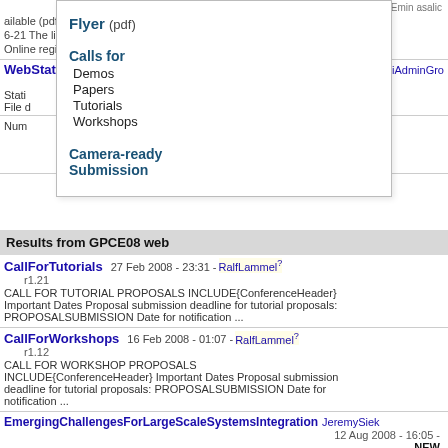15 Oct 2008 - 08:33 - Emin asalic r1.27
ailable (pdf) 6-21 The list of accepted Online registration ...
WebStatistics 23 Feb 2010 - 07:58 - TWikiAdminGro r1.1057 Statistics ... th: Topic views: Topic saves: File d ... s: Top contributors for topic
Num
Flyer (pdf)
Calls for
Demos
Papers
Tutorials
Workshops
Camera-ready Submission
Results from GPCE08 web
CallForTutorials 27 Feb 2008 - 23:31 - RalfLammel? r1.21 CALL FOR TUTORIAL PROPOSALS INCLUDE{ConferenceHeader} Important Dates Proposal submission deadline for tutorial proposals: PROPOSALSUBMISSION Date for notification ...
CallForWorkshops 16 Feb 2008 - 01:07 - RalfLammel? r1.12 CALL FOR WORKSHOP PROPOSALS INCLUDE{ConferenceHeader} Important Dates Proposal submission deadline for tutorial proposals: PROPOSALSUBMISSION Date for notification ...
EmergingChallengesForLargeScaleSystemsIntegration JeremySiek 12 Aug 2008 - 16:05 - NEW